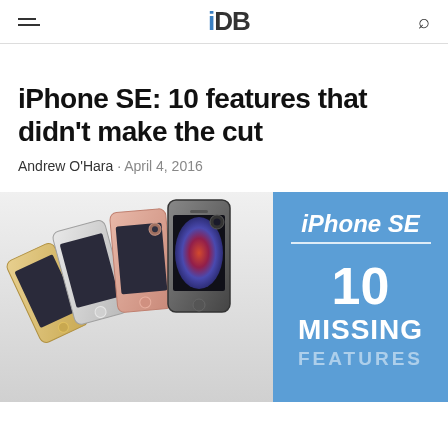iDB
iPhone SE: 10 features that didn't make the cut
Andrew O'Hara · April 4, 2016
[Figure (photo): Photo of multiple iPhone SE devices in gold, rose gold, silver, and space gray colors fanned out, with a blue overlay box on the right showing 'iPhone SE 10 MISSING FEATURES' text]